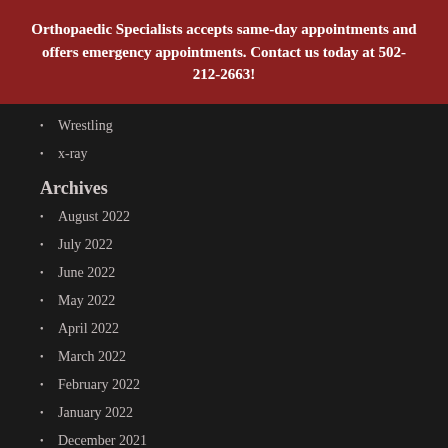Orthopaedic Specialists accepts same-day appointments and offers emergency appointments. Contact us today at 502-212-2663!
Wrestling
x-ray
Archives
August 2022
July 2022
June 2022
May 2022
April 2022
March 2022
February 2022
January 2022
December 2021
November 2021
October 2021